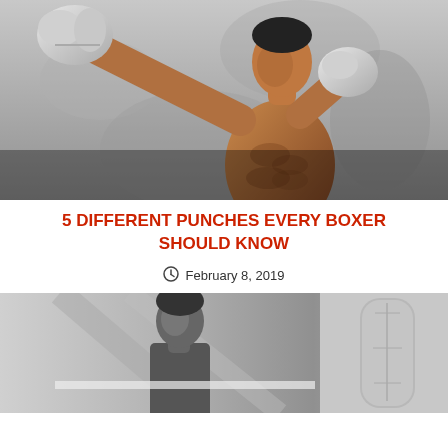[Figure (photo): Black and white photo of a muscular male boxer throwing a punch with white boxing gloves against a concrete wall background]
5 DIFFERENT PUNCHES EVERY BOXER SHOULD KNOW
February 8, 2019
[Figure (photo): Black and white photo of a famous boxer (Muhammad Ali) looking at the camera, with a punching bag visible to the right]